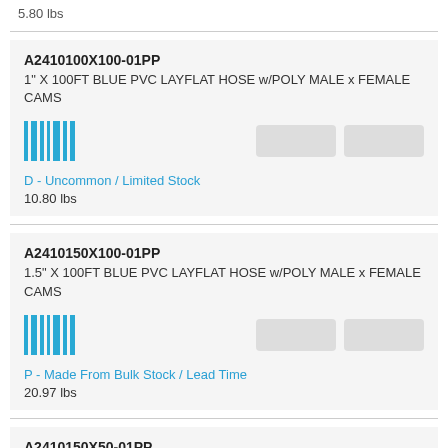5.80 lbs
A2410100X100-01PP
1" X 100FT BLUE PVC LAYFLAT HOSE w/POLY MALE x FEMALE CAMS
D - Uncommon / Limited Stock
10.80 lbs
A2410150X100-01PP
1.5" X 100FT BLUE PVC LAYFLAT HOSE w/POLY MALE x FEMALE CAMS
P - Made From Bulk Stock / Lead Time
20.97 lbs
A2410150X50-01PP
1.5" X 50FT BLUE PVC LAYFLAT HOSE w/POLY MALE x FEMALE CAMS